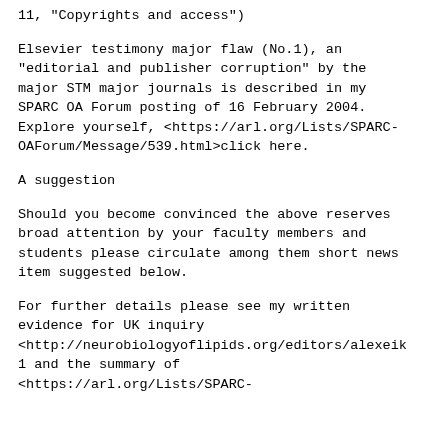p 11, "Copyrights and access")
Elsevier testimony major flaw (No.1), an "editorial and publisher corruption" by the major STM major journals is described in my SPARC OA Forum posting of 16 February 2004. Explore yourself, <https://arl.org/Lists/SPARC-OAForum/Message/539.html>click here.
A suggestion
Should you become convinced the above reserves broad attention by your faculty members and students please circulate among them short news item suggested below.
For further details please see my written evidence for UK inquiry <http://neurobiologyoflipids.org/editors/alexeik 1 and the summary of <https://arl.org/Lists/SPARC-